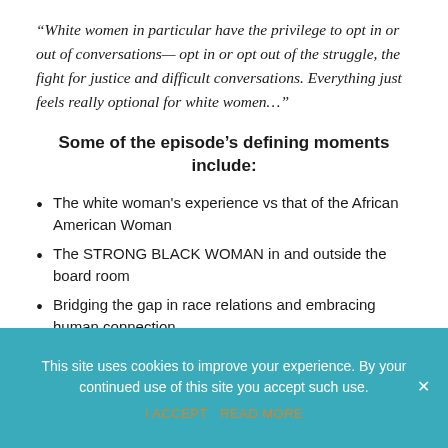“White women in particular have the privilege to opt in or out of conversations— opt in or opt out of the struggle, the fight for justice and difficult conversations. Everything just feels really optional for white women…”
Some of the episode’s defining moments include:
The white woman's experience vs that of the African American Woman
The STRONG BLACK WOMAN in and outside the board room
Bridging the gap in race relations and embracing human connection
That moment when her bi-racial son labeled
This site uses cookies to improve your experience. By your continued use of this site you accept such use.
I ACCEPT  READ MORE